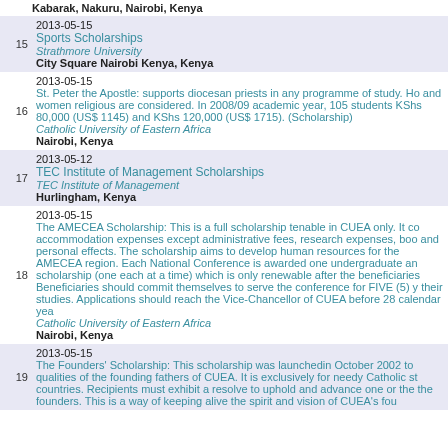Kabarak, Nakuru, Nairobi, Kenya
15 | 2013-05-15 | Sports Scholarships | Strathmore University | City Square Nairobi Kenya, Kenya
16 | 2013-05-15 | St. Peter the Apostle: supports diocesan priests in any programme of study. Ho and women religious are considered. In 2008/09 academic year, 105 students KShs 80,000 (US$ 1145) and KShs 120,000 (US$ 1715). (Scholarship) | Catholic University of Eastern Africa | Nairobi, Kenya
17 | 2013-05-12 | TEC Institute of Management Scholarships | TEC Institute of Management | Hurlingham, Kenya
18 | 2013-05-15 | The AMECEA Scholarship: This is a full scholarship tenable in CUEA only. It co accommodation expenses except administrative fees, research expenses, boo and personal effects. The scholarship aims to develop human resources for the AMECEA region. Each National Conference is awarded one undergraduate an scholarship (one each at a time) which is only renewable after the beneficiaries Beneficiaries should commit themselves to serve the conference for FIVE (5) y their studies. Applications should reach the Vice-Chancellor of CUEA before 28 calendar yea | Catholic University of Eastern Africa | Nairobi, Kenya
19 | 2013-05-15 | The Founders' Scholarship: This scholarship was launchedin October 2002 to qualities of the founding fathers of CUEA. It is exclusively for needy Catholic st countries. Recipients must exhibit a resolve to uphold and advance one or the the founders. This is a way of keeping alive the spirit and vision of CUEA's fou